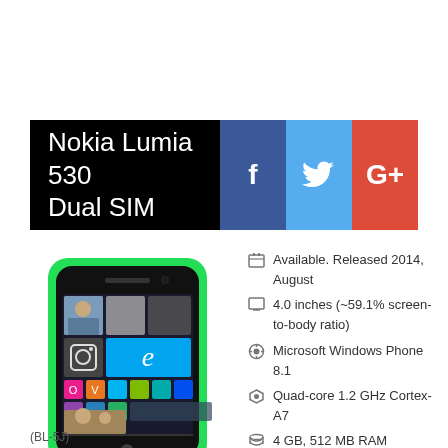Nokia Lumia 530 Dual SIM
[Figure (photo): Nokia Lumia 530 Dual SIM smartphone with green border showing Windows Phone 8.1 tiles on screen]
Available. Released 2014, August
4.0 inches (~59.1% screen-to-body ratio)
Microsoft Windows Phone 8.1
Quad-core 1.2 GHz Cortex-A7
4 GB, 512 MB RAM
5 MP
Removable Li-Ion 1430 mAh battery
(BL-5J)